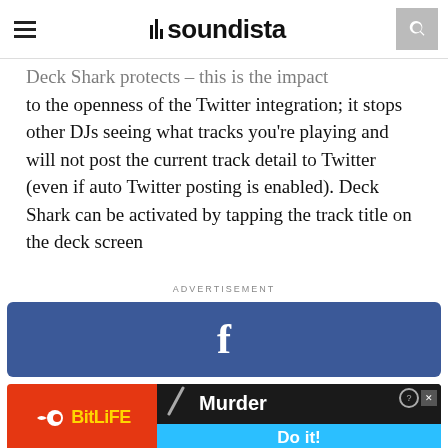soundista
Deck Shark protects – this is the impact to the openness of the Twitter integration; it stops other DJs seeing what tracks you're playing and will not post the current track detail to Twitter (even if auto Twitter posting is enabled). Deck Shark can be activated by tapping the track title on the deck screen
ADVERTISEMENT
[Figure (other): Facebook share button banner with blue background and white 'f' letter]
[Figure (other): BitLife advertisement banner with red left section showing BitLife logo and sperm icon, dark right section with 'Murder' text and 'Do it!' call to action button in blue]